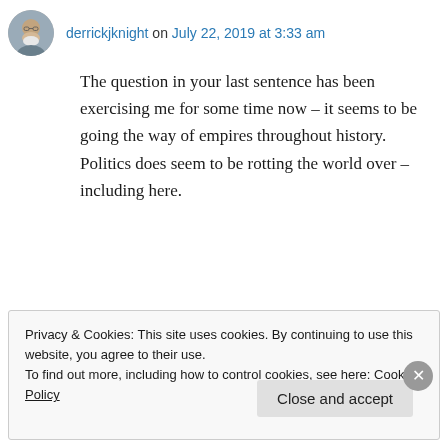[Figure (photo): Avatar photo of derrickjknight, an older man with white beard and glasses]
derrickjknight on July 22, 2019 at 3:33 am
The question in your last sentence has been exercising me for some time now – it seems to be going the way of empires throughout history. Politics does seem to be rotting the world over – including here.
★ Liked by 1 person
↪ Reply
Privacy & Cookies: This site uses cookies. By continuing to use this website, you agree to their use.
To find out more, including how to control cookies, see here: Cookie Policy
Close and accept